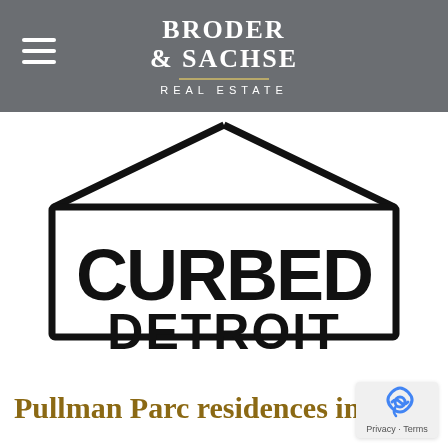[Figure (logo): Broder & Sachse Real Estate logo on dark grey header bar with hamburger menu icon on the left]
[Figure (logo): Curbed Detroit logo — black outlined house shape with CURBED inside and DETROIT below in bold black lettering]
Pullman Parc residences in